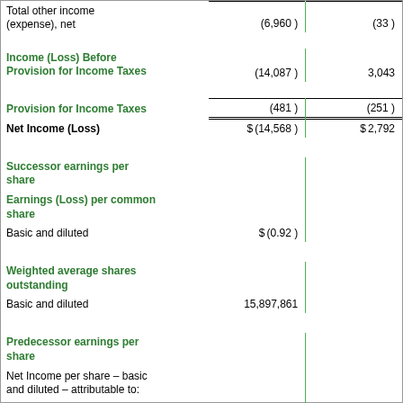|  | Successor | Predecessor |
| --- | --- | --- |
| Total other income (expense), net | (6,960 ) | (33 ) |
| Income (Loss) Before Provision for Income Taxes | (14,087 ) | 3,043 |
| Provision for Income Taxes | (481 ) | (251 ) |
| Net Income (Loss) | $ (14,568 ) | $ 2,792 |
| Successor earnings per share |  |  |
| Earnings (Loss) per common share |  |  |
| Basic and diluted | $ (0.92 ) |  |
| Weighted average shares outstanding |  |  |
| Basic and diluted | 15,897,861 |  |
| Predecessor earnings per share |  |  |
| Net Income per share – basic and diluted – attributable to: |  |  |
| Angel Founder Units |  | $ 13.50 |